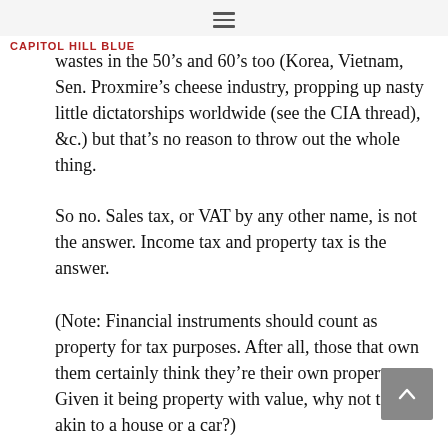CAPITOL HILL BLUE
wastes in the 50’s and 60’s too (Korea, Vietnam, Sen. Proxmire’s cheese industry, propping up nasty little dictatorships worldwide (see the CIA thread), &c.) but that’s no reason to throw out the whole thing.
So no. Sales tax, or VAT by any other name, is not the answer. Income tax and property tax is the answer.
(Note: Financial instruments should count as property for tax purposes. After all, those that own them certainly think they’re their own property. Given it being property with value, why not tax it akin to a house or a car?)
I